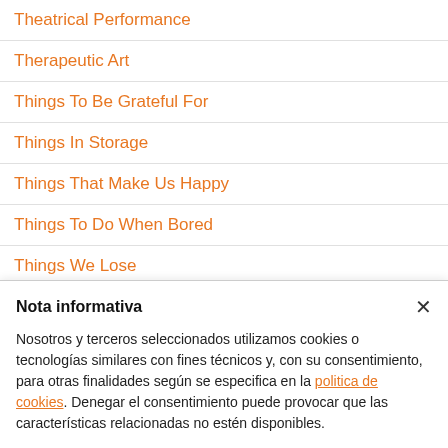Theatrical Performance
Therapeutic Art
Things To Be Grateful For
Things In Storage
Things That Make Us Happy
Things To Do When Bored
Things We Lose
Nota informativa
Nosotros y terceros seleccionados utilizamos cookies o tecnologías similares con fines técnicos y, con su consentimiento, para otras finalidades según se especifica en la politica de cookies. Denegar el consentimiento puede provocar que las características relacionadas no estén disponibles.